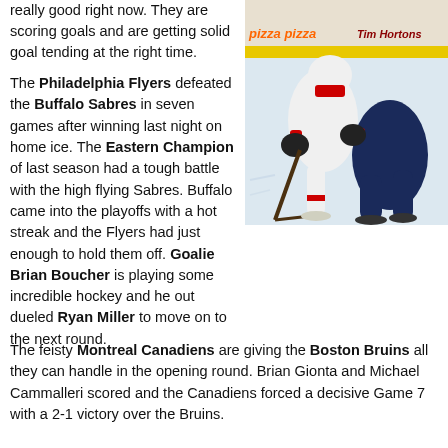really good right now. They are scoring goals and are getting solid goal tending at the right time.
The Philadelphia Flyers defeated the Buffalo Sabres in seven games after winning last night on home ice. The Eastern Champion of last season had a tough battle with the high flying Sabres. Buffalo came into the playoffs with a hot streak and the Flyers had just enough to hold them off. Goalie Brian Boucher is playing some incredible hockey and he out dueled Ryan Miller to move on to the next round.
[Figure (photo): A hockey player in white and red uniform (Washington Capitals) skating with the puck, battling against a player in dark blue uniform, with arena boards showing 'pizza pizza' and 'Tim Hortons' advertising in the background.]
The feisty Montreal Canadiens are giving the Boston Bruins all they can handle in the opening round. Brian Gionta and Michael Cammalleri scored and the Canadiens forced a decisive Game 7 with a 2-1 victory over the Bruins.